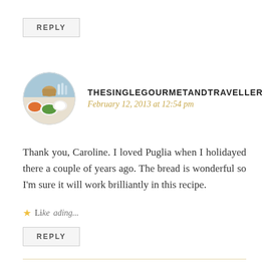REPLY
[Figure (photo): Circular avatar photo showing a table with food dishes outdoors, Mediterranean setting]
THESINGLEGOURMETANDTRAVELLER
February 12, 2013 at 12:54 pm
Thank you, Caroline. I loved Puglia when I holidayed there a couple of years ago. The bread is wonderful so I'm sure it will work brilliantly in this recipe.
Like Loading...
REPLY